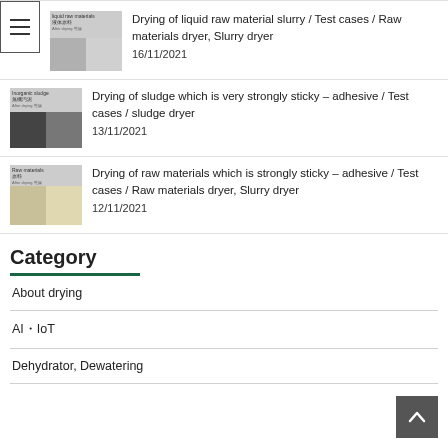[Figure (photo): Thumbnail image of liquid raw material / slurry dryer test case showing before and after drying photos]
Drying of liquid raw material slurry / Test cases / Raw materials dryer, Slurry dryer
16/11/2021
[Figure (photo): Thumbnail image of inorganic sludge drying test case showing before and after photos]
Drying of sludge which is very strongly sticky – adhesive / Test cases / sludge dryer
13/11/2021
[Figure (photo): Thumbnail image of raw materials drying test case showing before and after photos]
Drying of raw materials which is strongly sticky – adhesive / Test cases / Raw materials dryer, Slurry dryer
12/11/2021
Category
About drying
AI・IoT
Dehydrator, Dewatering